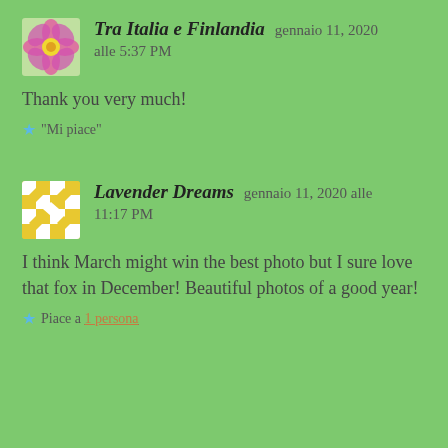[Figure (photo): Avatar image of a pink flower for Tra Italia e Finlandia]
Tra Italia e Finlandia   gennaio 11, 2020
alle 5:37 PM
Thank you very much!
★ "Mi piace"
[Figure (photo): Avatar image of a yellow geometric pattern for Lavender Dreams]
Lavender Dreams   gennaio 11, 2020 alle 11:17 PM
I think March might win the best photo but I sure love that fox in December! Beautiful photos of a good year!
★ Piace a 1 persona